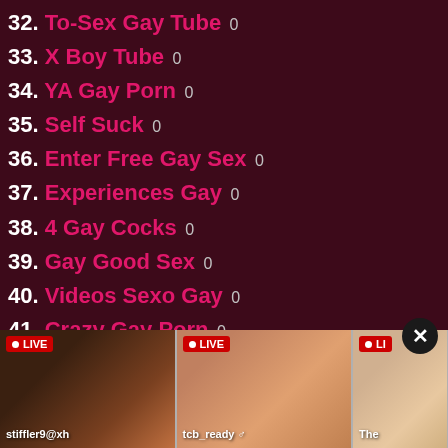32. To-Sex Gay Tube 0
33. X Boy Tube 0
34. YA Gay Porn 0
35. Self Suck 0
36. Enter Free Gay Sex 0
37. Experiences Gay 0
38. 4 Gay Cocks 0
39. Gay Good Sex 0
40. Videos Sexo Gay 0
41. Crazy Gay Porn 0
42. Gay Cumshot Movie 0
[Figure (screenshot): Bottom strip showing three live webcam thumbnails with LIVE badges and usernames: stiffler9@xh, tcb_ready, The]